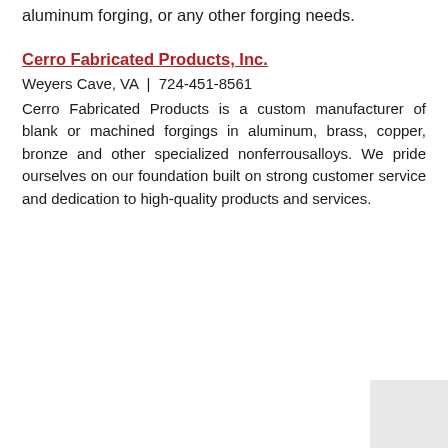aluminum forging, or any other forging needs.
Cerro Fabricated Products, Inc.
Weyers Cave, VA | 724-451-8561
Cerro Fabricated Products is a custom manufacturer of blank or machined forgings in aluminum, brass, copper, bronze and other specialized nonferrousalloys. We pride ourselves on our foundation built on strong customer service and dedication to high-quality products and services.